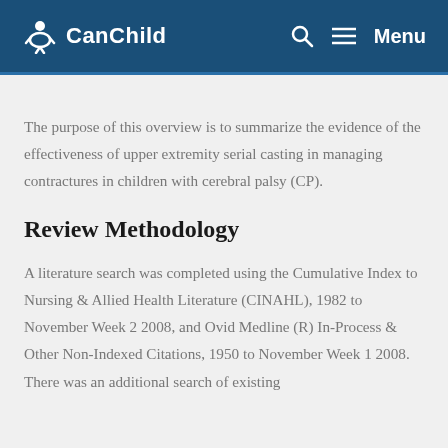CanChild | Search | Menu
The purpose of this overview is to summarize the evidence of the effectiveness of upper extremity serial casting in managing contractures in children with cerebral palsy (CP).
Review Methodology
A literature search was completed using the Cumulative Index to Nursing & Allied Health Literature (CINAHL), 1982 to November Week 2 2008, and Ovid Medline (R) In-Process & Other Non-Indexed Citations, 1950 to November Week 1 2008. There was an additional search of existing